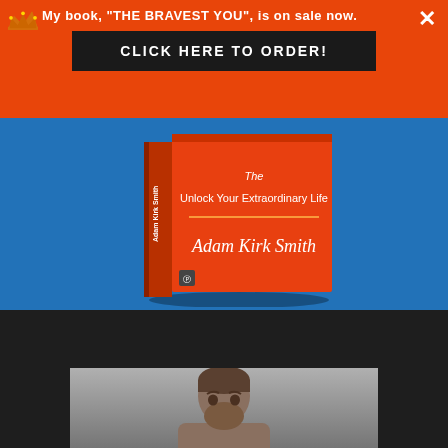My book, "THE BRAVEST YOU", is on sale now.
CLICK HERE TO ORDER!
[Figure (photo): Book cover of 'The Bravest You: Unlock Your Extraordinary Life' by Adam Kirk Smith, displayed as a physical book with orange cover]
PODCAST: IDEAS
[Figure (photo): Black and white/grey toned headshot of a bearded man looking at camera]